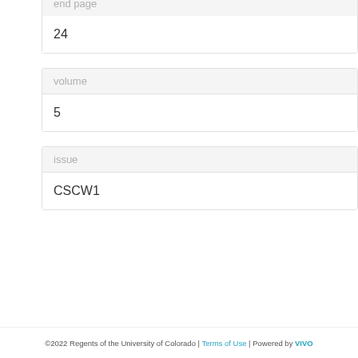end page
24
volume
5
issue
CSCW1
©2022 Regents of the University of Colorado | Terms of Use | Powered by VIVO